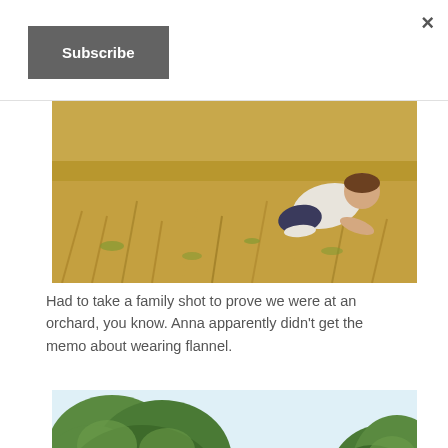×
Subscribe
[Figure (photo): Child crawling in a dry grass field at an orchard, wearing a white long-sleeve top and dark pants, sunny day]
Had to take a family shot to prove we were at an orchard, you know. Anna apparently didn't get the memo about wearing flannel.
[Figure (photo): Apple orchard trees with green foliage against a light blue sky, outdoor daytime scene]